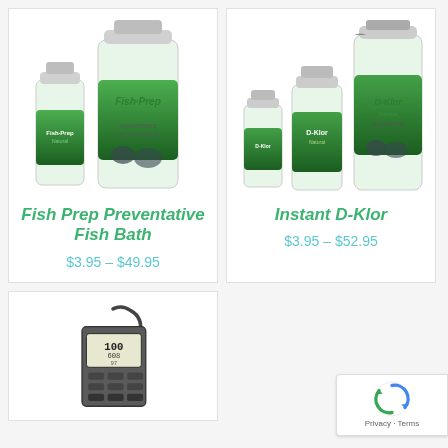[Figure (photo): Fish Prep Preventative Fish Bath product bottles (two sizes)]
Fish Prep Preventative Fish Bath
$3.95 – $49.95
[Figure (photo): Instant D-Klor product bottles (three sizes including gallon jug)]
Instant D-Klor
$3.95 – $52.95
[Figure (photo): Digital meter/tester device with display showing 100 and 608]
[Figure (logo): Google reCAPTCHA badge with Privacy and Terms links]